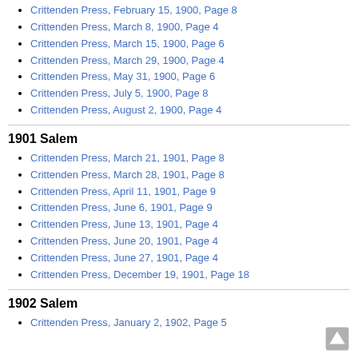Crittenden Press, February 15, 1900, Page 8
Crittenden Press, March 8, 1900, Page 4
Crittenden Press, March 15, 1900, Page 6
Crittenden Press, March 29, 1900, Page 4
Crittenden Press, May 31, 1900, Page 6
Crittenden Press, July 5, 1900, Page 8
Crittenden Press, August 2, 1900, Page 4
1901 Salem
Crittenden Press, March 21, 1901, Page 8
Crittenden Press, March 28, 1901, Page 8
Crittenden Press, April 11, 1901, Page 9
Crittenden Press, June 6, 1901, Page 9
Crittenden Press, June 13, 1901, Page 4
Crittenden Press, June 20, 1901, Page 4
Crittenden Press, June 27, 1901, Page 4
Crittenden Press, December 19, 1901, Page 18
1902 Salem
Crittenden Press, January 2, 1902, Page 5